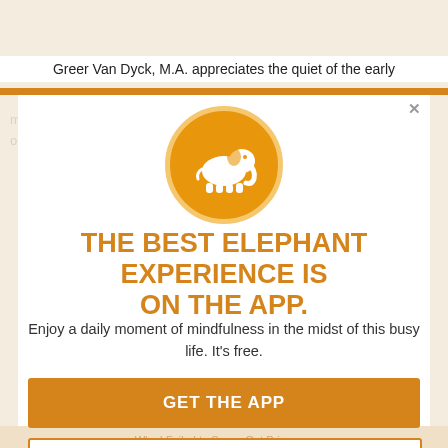Greer Van Dyck, M.A. appreciates the quiet of the early
[Figure (logo): White elephant silhouette on orange circle with gold border — app logo]
THE BEST ELEPHANT EXPERIENCE IS ON THE APP.
Enjoy a daily moment of mindfulness in the midst of this busy life. It's free.
GET THE APP
OPEN IN APP